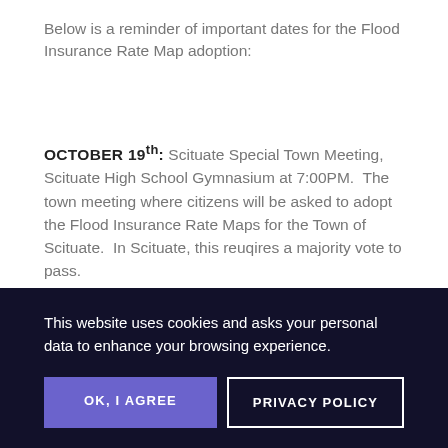Below is a reminder of important dates for the Flood Insurance Rate Map adoption:
OCTOBER 19th: Scituate Special Town Meeting, Scituate High School Gymnasium at 7:00PM.  The town meeting where citizens will be asked to adopt the Flood Insurance Rate Maps for the Town of Scituate.  In Scituate, this reuqires a majority vote to pass.
This website uses cookies and asks your personal data to enhance your browsing experience.
OK, I AGREE
PRIVACY POLICY